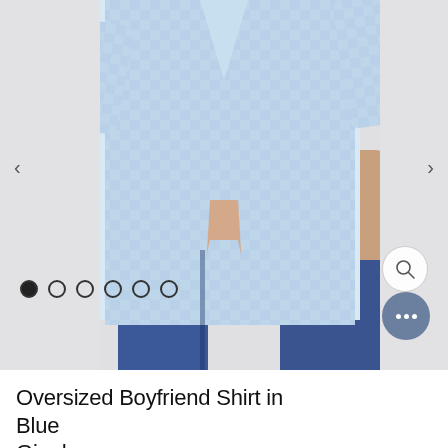[Figure (photo): A model wearing an oversized blue and white gingham check shirt with sleeves rolled up, paired with dark blue jeans. The photo is cropped at the torso/waist level showing the shirt tied loosely at the front. Background is light grey/white.]
Oversized Boyfriend Shirt in Blue Gingham